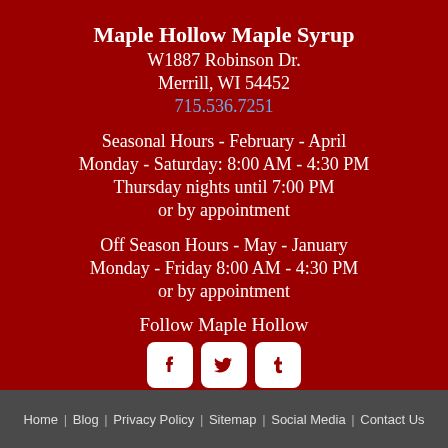Maple Hollow Maple Syrup
W1887 Robinson Dr.
Merrill, WI 54452
715.536.7251
Seasonal Hours - February - April
Monday - Saturday: 8:00 AM - 4:30 PM
Thursday nights until 7:00 PM
or by appointment
Off Season Hours - May - January
Monday - Friday 8:00 AM - 4:30 PM
or by appointment
Follow Maple Hollow
[Figure (other): Social media icons: Facebook, Twitter, Tumblr]
CompliAssure SiteSeal
Home | Blog | Privacy Policy | Sitemap | Social Media | Contact Us